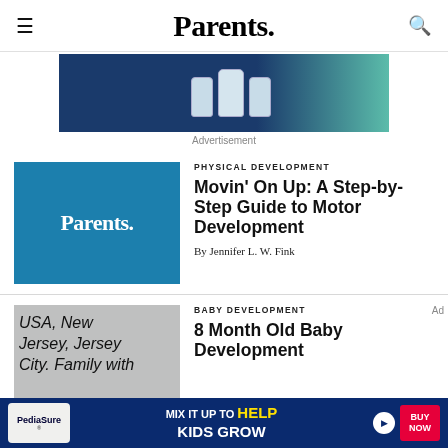Parents.
[Figure (illustration): Advertisement banner with skincare product bottles on dark blue and teal background]
Advertisement
[Figure (logo): Parents. logo on teal/blue background - article thumbnail]
PHYSICAL DEVELOPMENT
Movin' On Up: A Step-by-Step Guide to Motor Development
By Jennifer L. W. Fink
[Figure (photo): USA, New Jersey, Jersey City. Family with baby - article thumbnail]
BABY DEVELOPMENT
8 Month Old Baby Development
[Figure (illustration): PediaSure advertisement: mix it up to HELP KIDS GROW - BUY NOW]